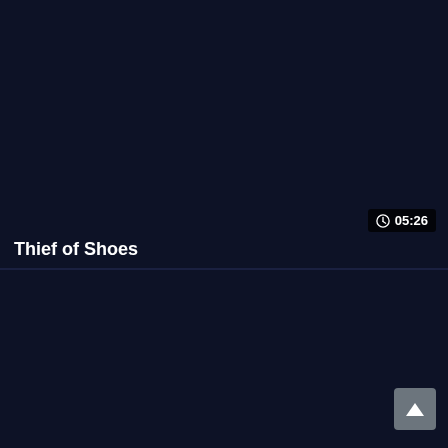[Figure (screenshot): Dark navy blue video thumbnail panel, mostly empty/dark]
05:26
Thief of Shoes
[Figure (screenshot): Dark navy blue lower panel with scroll-to-top button in bottom-right corner]